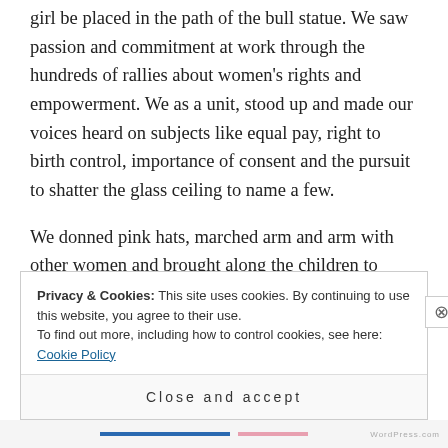girl be placed in the path of the bull statue. We saw passion and commitment at work through the hundreds of rallies about women's rights and empowerment. We as a unit, stood up and made our voices heard on subjects like equal pay, right to birth control, importance of consent and the pursuit to shatter the glass ceiling to name a few.
We donned pink hats, marched arm and arm with other women and brought along the children to witness history, as they are the ones who will
Privacy & Cookies: This site uses cookies. By continuing to use this website, you agree to their use.
To find out more, including how to control cookies, see here: Cookie Policy
Close and accept